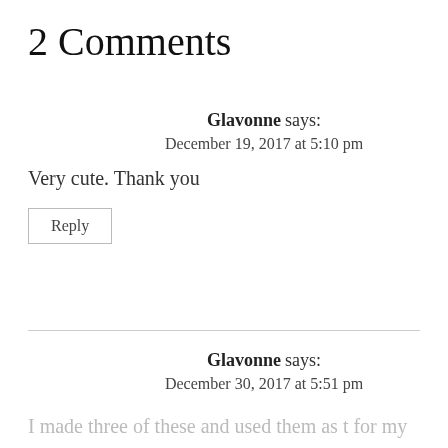2 Comments
Glavonne says:
December 19, 2017 at 5:10 pm
Very cute. Thank you
Reply
Glavonne says:
December 30, 2017 at 5:51 pm
I made three of these and used them as t for my